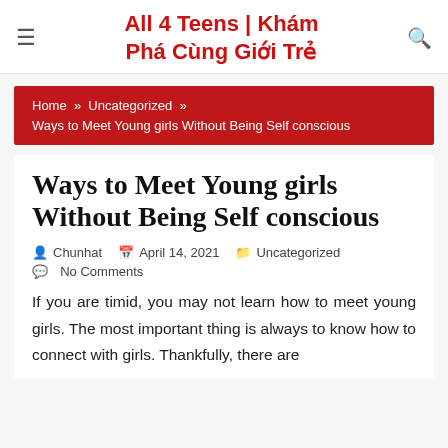All 4 Teens | Khám Phá Cùng Giới Trẻ
Home » Uncategorized » Ways to Meet Young girls Without Being Self conscious
Ways to Meet Young girls Without Being Self conscious
Chunhat   April 14, 2021   Uncategorized   No Comments
If you are timid, you may not learn how to meet young girls. The most important thing is always to know how to connect with girls. Thankfully, there are